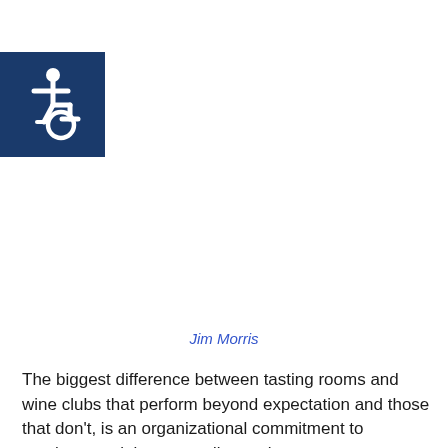[Figure (illustration): Wheelchair accessibility symbol — white wheelchair user icon on a dark navy blue square background]
Jim Morris
The biggest difference between tasting rooms and wine clubs that perform beyond expectation and those that don't, is an organizational commitment to employee training, according to the